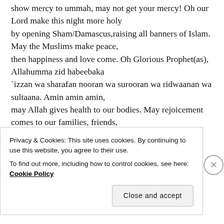show mercy to ummah, may not get your mercy! Oh our Lord make this night more holy by opening Sham/Damascus,raising all banners of Islam. May the Muslims make peace, then happiness and love come. Oh Glorious Prophet(as), Allahumma zid habeebaka `izzan wa sharafan nooran wa surooran wa ridwaanan wa sultaana. Amin amin amin, may Allah gives health to our bodies. May rejoicement comes to our families, friends, Muslim brothers and sisters and to beloved friends of
Privacy & Cookies: This site uses cookies. By continuing to use this website, you agree to their use.
To find out more, including how to control cookies, see here: Cookie Policy